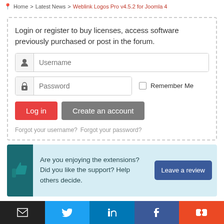Home > Latest News > Weblink Logos Pro v4.5.2 for Joomla 4
Login or register to buy licenses, access software previously purchased or post in the forum.
[Figure (screenshot): Login form with Username field, Password field, Remember Me checkbox, Log in button, Create an account button, and Forgot links]
Are you enjoying the extensions? Did you like the support? Help others decide.
[Figure (illustration): Thumbs up icon in teal accent bar]
Social share buttons: Email, Twitter, LinkedIn, Facebook, StumbleUpon